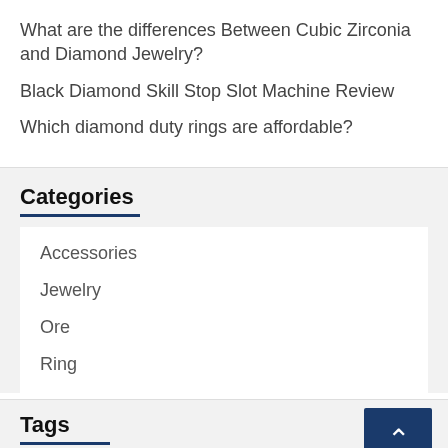What are the differences Between Cubic Zirconia and Diamond Jewelry?
Black Diamond Skill Stop Slot Machine Review
Which diamond duty rings are affordable?
Categories
Accessories
Jewelry
Ore
Ring
Tags